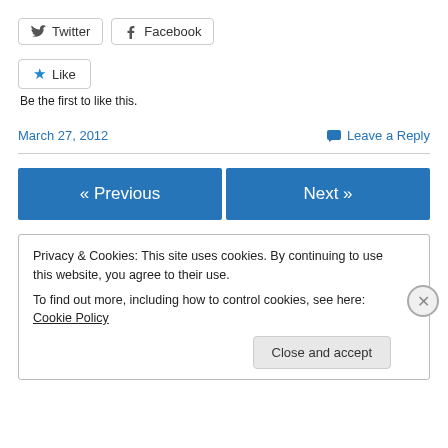Twitter  Facebook (share buttons)
Like  Be the first to like this.
March 27, 2012    Leave a Reply
« Previous    Next »
Privacy & Cookies: This site uses cookies. By continuing to use this website, you agree to their use.
To find out more, including how to control cookies, see here: Cookie Policy
Close and accept